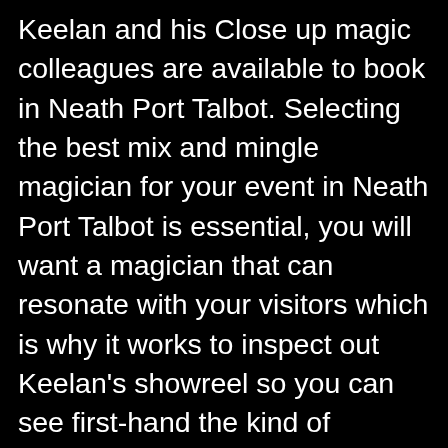Keelan and his Close up magic colleagues are available to book in Neath Port Talbot. Selecting the best mix and mingle magician for your event in Neath Port Talbot is essential, you will want a magician that can resonate with your visitors which is why it works to inspect out Keelan's showreel so you can see first-hand the kind of routines you will get. If you like what you see then do not hesitate to get in touch with to see if Keelan is available for your party in the area, if Keelan is unavailable he can put you in contact with one of his colleagues that